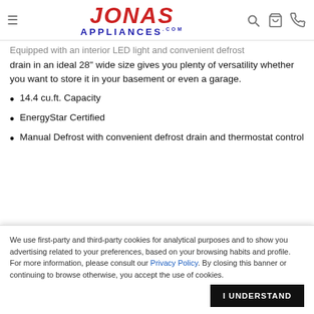Jonas Appliances
Equipped with an interior LED light and convenient defrost drain in an ideal 28" wide size gives you plenty of versatility whether you want to store it in your basement or even a garage.
14.4 cu.ft. Capacity
EnergyStar Certified
Manual Defrost with convenient defrost drain and thermostat control
We use first-party and third-party cookies for analytical purposes and to show you advertising related to your preferences, based on your browsing habits and profile. For more information, please consult our Privacy Policy. By closing this banner or continuing to browse otherwise, you accept the use of cookies.